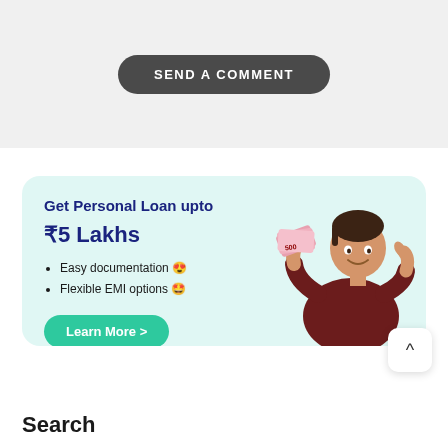SEND A COMMENT
[Figure (infographic): Personal loan advertisement card with light teal background. Shows 'Get Personal Loan upto ₹5 Lakhs', bullet points: 'Easy documentation 😍' and 'Flexible EMI options 🤩', a 'Learn More >' button in green, and a man holding Indian rupee notes on the right side.]
Search